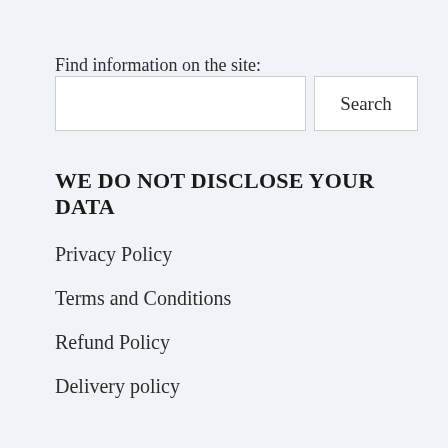Find information on the site:
Search
WE DO NOT DISCLOSE YOUR DATA
Privacy Policy
Terms and Conditions
Refund Policy
Delivery policy